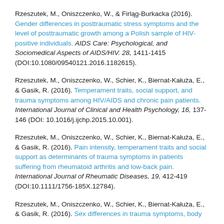Rzeszutek, M., Oniszczenko, W., & Firląg-Burkacka (2016). Gender differences in posttraumatic stress symptoms and the level of posttraumatic growth among a Polish sample of HIV-positive individuals. AIDS Care: Psychological, and Sociomedical Aspects of AIDS/HIV. 28, 1411-1415 (DOI:10.1080/09540121.2016.1182615).
Rzeszutek, M., Oniszczenko, W., Schier, K., Biernat-Kałuża, E., & Gasik, R. (2016). Temperament traits, social support, and trauma symptoms among HIV/AIDS and chronic pain patients. International Journal of Clinical and Health Psychology, 16, 137-146 (DOI: 10.1016/j.ijchp.2015.10.001).
Rzeszutek, M., Oniszczenko, W., Schier, K., Biernat-Kałuża, E., & Gasik, R. (2016). Pain intensity, temperament traits and social support as determinants of trauma symptoms in patients suffering from rheumatoid arthritis and low-back pain. International Journal of Rheumatic Diseases, 19, 412-419 (DOI:10.1111/1756-185X.12784).
Rzeszutek, M., Oniszczenko, W., Schier, K., Biernat-Kałuża, E., & Gasik, R. (2016). Sex differences in trauma symptoms, body...